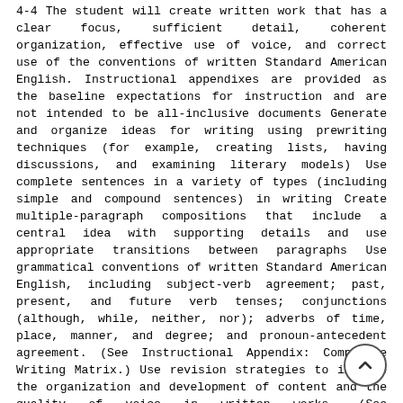4-4 The student will create written work that has a clear focus, sufficient detail, coherent organization, effective use of voice, and correct use of the conventions of written Standard American English. Instructional appendixes are provided as the baseline expectations for instruction and are not intended to be all-inclusive documents Generate and organize ideas for writing using prewriting techniques (for example, creating lists, having discussions, and examining literary models) Use complete sentences in a variety of types (including simple and compound sentences) in writing Create multiple-paragraph compositions that include a central idea with supporting details and use appropriate transitions between paragraphs Use grammatical conventions of written Standard American English, including subject-verb agreement; past, present, and future verb tenses; conjunctions (although, while, neither, nor); adverbs of time, place, manner, and degree; and pronoun-antecedent agreement. (See Instructional Appendix: Composite Writing Matrix.) Use revision strategies to improve the organization and development of content and the quality of voice in written works. (See Instructional Appendix: Composite Writing Matrix.) Edit for the correct use of